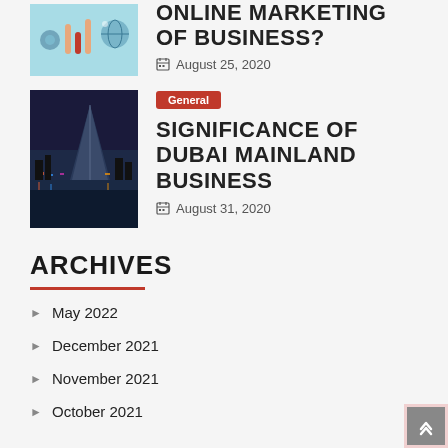[Figure (illustration): Colorful marketing/digital graphic with hands and icons on teal background]
ONLINE MARKETING OF BUSINESS?
August 25, 2020
[Figure (photo): Photo of Burj Al Arab and Dubai skyline at night with colorful lights reflected on water]
General
SIGNIFICANCE OF DUBAI MAINLAND BUSINESS
August 31, 2020
ARCHIVES
May 2022
December 2021
November 2021
October 2021